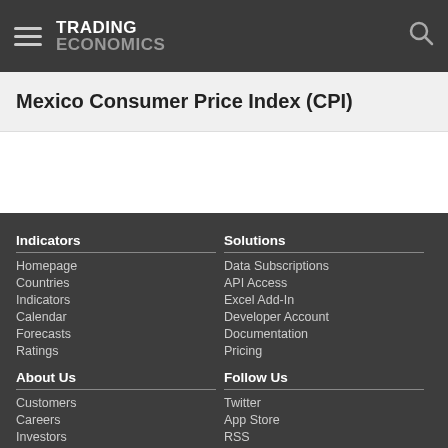TRADING ECONOMICS
Mexico Consumer Price Index (CPI)
Indicators
Homepage
Countries
Indicators
Calendar
Forecasts
Ratings
Solutions
Data Subscriptions
API Access
Excel Add-In
Developer Account
Documentation
Pricing
About Us
Customers
Careers
Investors
Advertisers
Follow Us
Twitter
App Store
RSS
GitHub